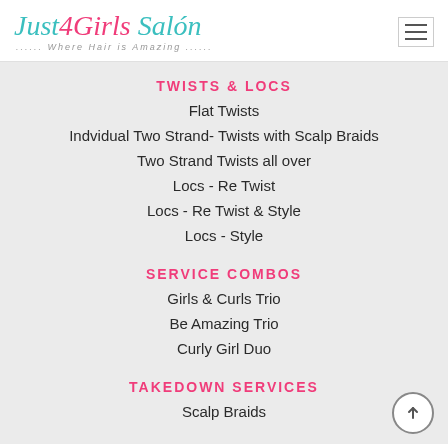[Figure (logo): Just 4 Girls Salon logo with tagline 'Where Hair is Amazing']
TWISTS & LOCS
Flat Twists
Indvidual Two Strand- Twists with Scalp Braids
Two Strand Twists all over
Locs - Re Twist
Locs - Re Twist & Style
Locs - Style
SERVICE COMBOS
Girls & Curls Trio
Be Amazing Trio
Curly Girl Duo
TAKEDOWN SERVICES
Scalp Braids